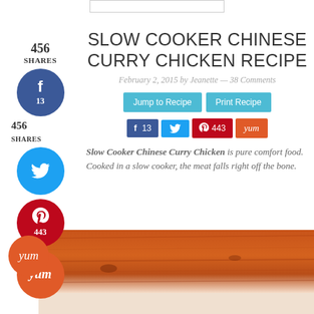SLOW COOKER CHINESE CURRY CHICKEN RECIPE
February 2, 2015 by Jeanette — 38 Comments
456 SHARES
[Figure (screenshot): Social share buttons: Jump to Recipe, Print Recipe buttons in light blue, and social share bar with Facebook (13), Twitter, Pinterest (443), Yummly]
Slow Cooker Chinese Curry Chicken is pure comfort food. Cooked in a slow cooker, the meat falls right off the bone.
[Figure (photo): Photo of a wooden surface with orange-brown tones, food dish partially visible at bottom]